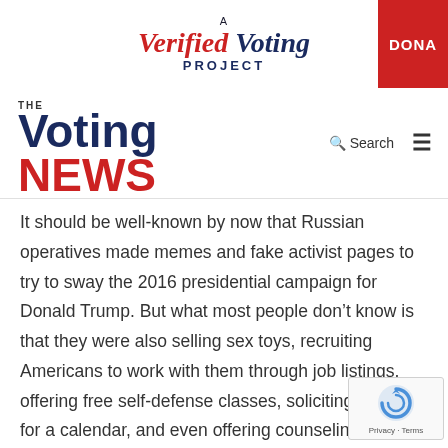[Figure (logo): A Verified Voting Project logo with red 'Verified' and blue 'Voting' italic text, plus red DONATE button on the right]
[Figure (logo): The Voting News logo: blue 'Voting' and red 'NEWS' in bold sans-serif, with search icon and hamburger menu on the right]
It should be well-known by now that Russian operatives made memes and fake activist pages to try to sway the 2016 presidential campaign for Donald Trump. But what most people don't know is that they were also selling sex toys, recruiting Americans to work with them through job listings, offering free self-defense classes, soliciting photos for a calendar, and even offering counseling to followers of pages called Army of Jesus who were struggling with